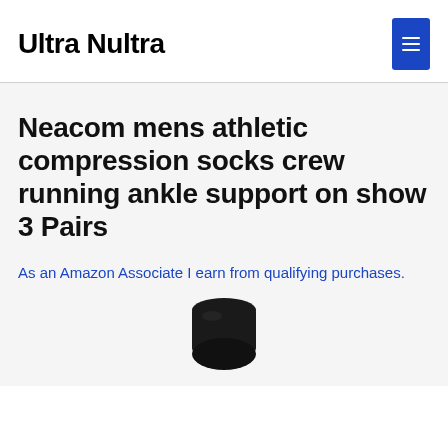Ultra Nultra
Neacom mens athletic compression socks crew running ankle support on show 3 Pairs
As an Amazon Associate I earn from qualifying purchases.
[Figure (photo): Black compression sock product photo, showing the ankle/foot portion of the sock against a white background.]